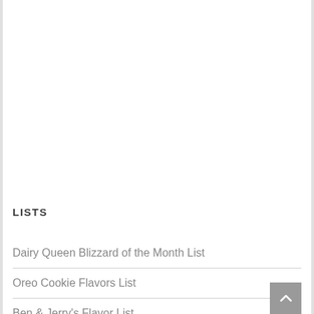LISTS
Dairy Queen Blizzard of the Month List
Oreo Cookie Flavors List
Ben & Jerry's Flavor List